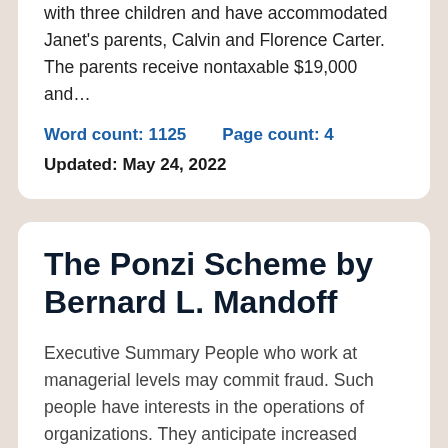with three children and have accommodated Janet's parents, Calvin and Florence Carter. The parents receive nontaxable $19,000 and...
Word count: 1125    Page count: 4
Updated: May 24, 2022
The Ponzi Scheme by Bernard L. Mandoff
Executive Summary People who work at managerial levels may commit fraud. Such people have interests in the operations of organizations. They anticipate increased earnings and...
Word count: 3274    Page count: 3